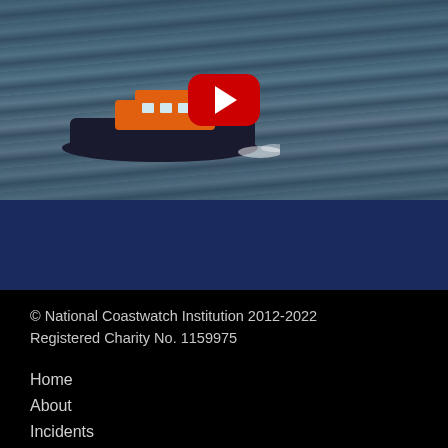[Figure (screenshot): YouTube video thumbnail showing a lifeboat (orange and dark hull) moving through choppy ocean waves, with a red YouTube play button overlay in the center]
© National Coastwatch Institution 2012-2022 Registered Charity No. 1159975
Home
About
Incidents
Stations
Volunteering